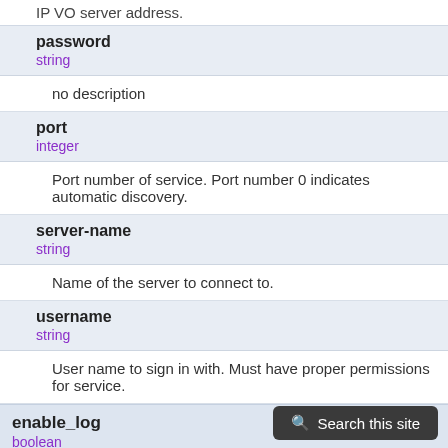IP VO server address.
password
string
no description
port
integer
Port number of service. Port number 0 indicates automatic discovery.
server-name
string
Name of the server to connect to.
username
string
User name to sign in with. Must have proper permissions for service.
enable_log
boolean